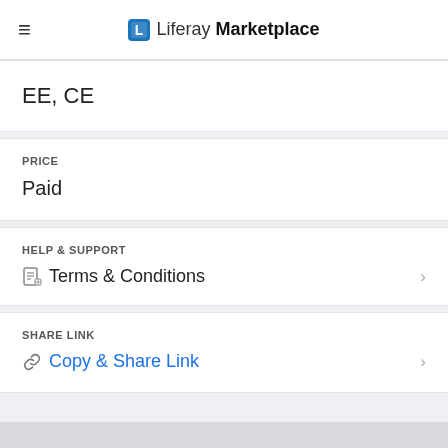Liferay Marketplace
EE, CE
PRICE
Paid
HELP & SUPPORT
Terms & Conditions
SHARE LINK
Copy & Share Link